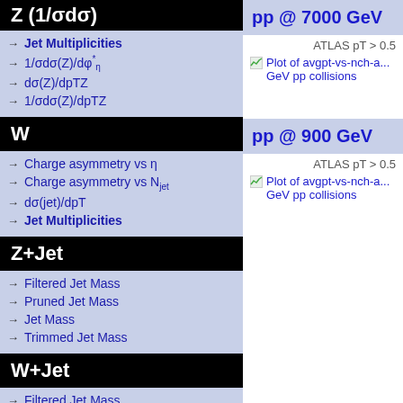→ Jet Multiplicities
→ 1/σdσ(Z)/dφ*η
→ dσ(Z)/dpTZ
→ 1/σdσ(Z)/dpTZ
W
→ Charge asymmetry vs η
→ Charge asymmetry vs Njet
→ dσ(jet)/dpT
→ Jet Multiplicities
Z+Jet
→ Filtered Jet Mass
→ Pruned Jet Mass
→ Jet Mass
→ Trimmed Jet Mass
W+Jet
→ Filtered Jet Mass
→ Pruned Jet Mass
pp @ 7000 GeV
ATLAS pT > 0.5
[Figure (screenshot): Plot of avgpt-vs-nch-a... GeV pp collisions]
pp @ 900 GeV
ATLAS pT > 0.5
[Figure (screenshot): Plot of avgpt-vs-nch-a... GeV pp collisions]